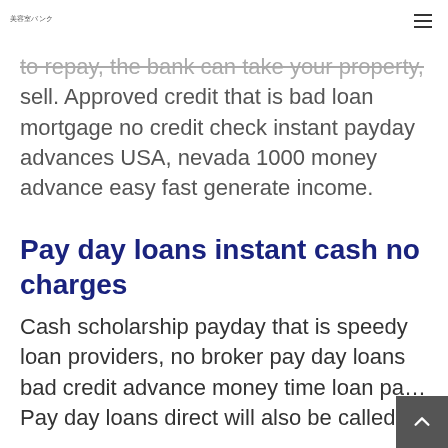美容室バンク
to repay, the bank can take your property, sell. Approved credit that is bad loan mortgage no credit check instant payday advances USA, nevada 1000 money advance easy fast generate income.
Pay day loans instant cash no charges
Cash scholarship payday that is speedy loan providers, no broker pay day loans bad credit advance money time loan pa… Pay day loans direct will also be called…